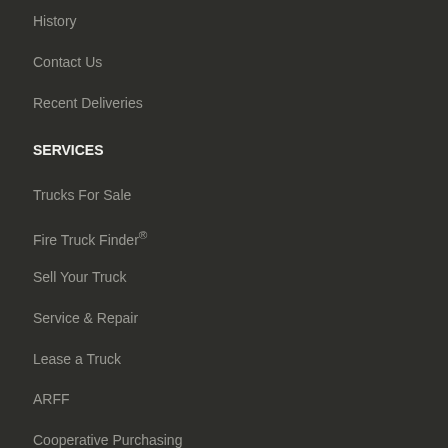History
Contact Us
Recent Deliveries
SERVICES
Trucks For Sale
Fire Truck Finder®
Sell Your Truck
Service & Repair
Lease a Truck
ARFF
Cooperative Purchasing
Frequently Asked Questions
SUPPORT